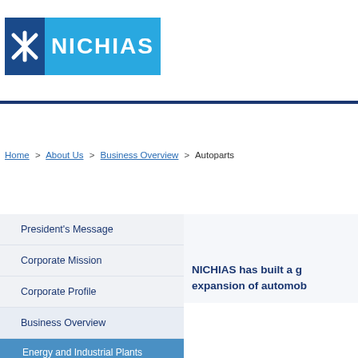[Figure (logo): NICHIAS company logo with blue icon on dark blue background and NICHIAS text on light blue background]
Home > About Us > Business Overview > Autoparts
President's Message
Corporate Mission
Corporate Profile
Business Overview
Energy and Industrial Plants
Industrial Products
NICHIAS has built a g... expansion of automob...